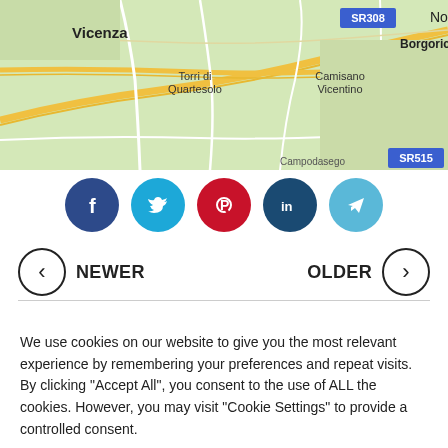[Figure (map): Map showing area around Vicenza, Italy with locations: Torri di Quartesolo, Camisano Vicentino, Borgoricco, SR308, SR515 road signs, and partial text 'Noa' on right edge]
[Figure (infographic): Row of five social media icon circles: Facebook (dark blue), Twitter (cyan), Pinterest (red), LinkedIn (dark blue), Telegram (light blue)]
NEWER
OLDER
We use cookies on our website to give you the most relevant experience by remembering your preferences and repeat visits. By clicking "Accept All", you consent to the use of ALL the cookies. However, you may visit "Cookie Settings" to provide a controlled consent.
Cookie Settings
Accept All